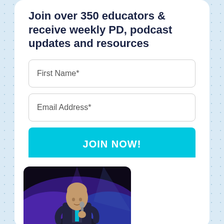Join over 350 educators & receive weekly PD, podcast updates and resources
First Name*
Email Address*
JOIN NOW!
[Figure (photo): A bald man in a dark blazer speaking into a microphone on stage with purple and blue stage lighting behind him]